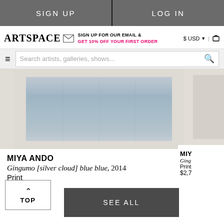SIGN UP | LOG IN
ARTSPACE — SIGN UP FOR OUR EMAIL & GET 10% OFF YOUR FIRST ORDER — $ USD | cart
Search artists, galleries, shows...
[Figure (photo): Artwork photo: Gingumo [silver cloud] blue blue, 2014, blue-grey abstract print]
MIYA ANDO
Gingumo [silver cloud] blue blue, 2014
Print
$2,700
MIYA
Ging...
Print
$2,7...
TOP
SEE ALL